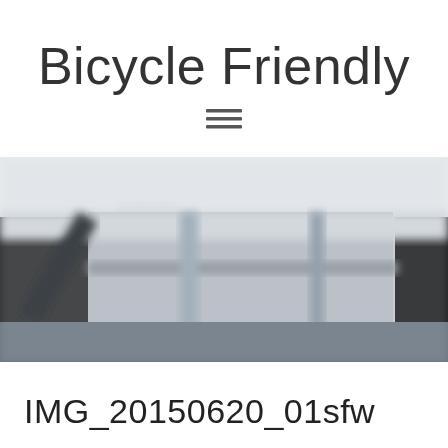Bicycle Friendly
[Figure (other): Menu/hamburger icon consisting of three horizontal lines]
[Figure (photo): Blurred close-up photograph of bicycle frame or components in grey and dark tones, showing metallic structures]
IMG_20150620_01sfw